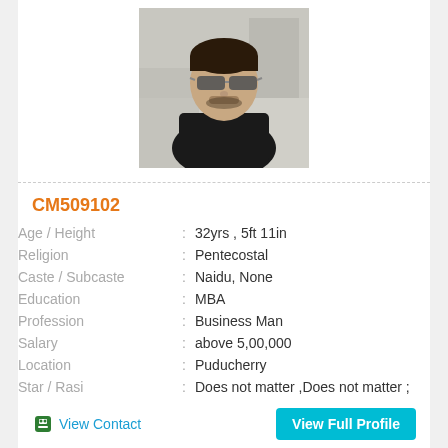[Figure (photo): Profile photo of a young man wearing sunglasses and a black t-shirt, taken at an outdoor/airport location]
CM509102
| Age / Height | : | 32yrs , 5ft 11in |
| Religion | : | Pentecostal |
| Caste / Subcaste | : | Naidu, None |
| Education | : | MBA |
| Profession | : | Business Man |
| Salary | : | above 5,00,000 |
| Location | : | Puducherry |
| Star / Rasi | : | Does not matter ,Does not matter ; |
View Contact
View Full Profile
[Figure (photo): Partial profile photo of another person at the bottom of the page]